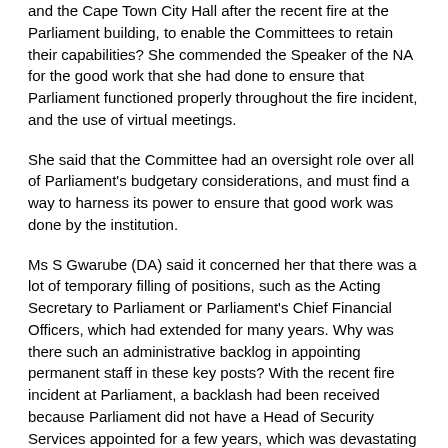and the Cape Town City Hall after the recent fire at the Parliament building, to enable the Committees to retain their capabilities? She commended the Speaker of the NA for the good work that she had done to ensure that Parliament functioned properly throughout the fire incident, and the use of virtual meetings.
She said that the Committee had an oversight role over all of Parliament's budgetary considerations, and must find a way to harness its power to ensure that good work was done by the institution.
Ms S Gwarube (DA) said it concerned her that there was a lot of temporary filling of positions, such as the Acting Secretary to Parliament or Parliament's Chief Financial Officers, which had extended for many years. Why was there such an administrative backlog in appointing permanent staff in these key posts? With the recent fire incident at Parliament, a backlash had been received because Parliament did not have a Head of Security Services appointed for a few years, which was devastating to the credibility of the institution. This showed how serious the filling of vacant posts was, and that it required more urgent